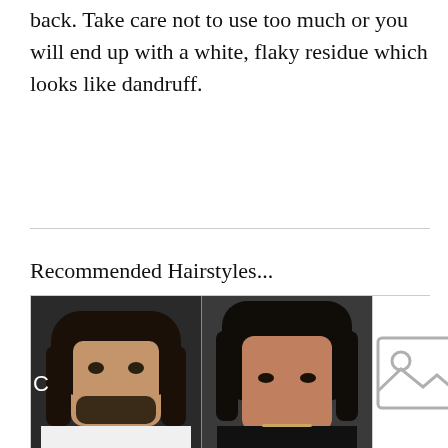back. Take care not to use too much or you will end up with a white, flaky residue which looks like dandruff.
Recommended Hairstyles...
[Figure (photo): Two photos of men with long dark hair side by side: left shows a bearded man in white, right shows a younger man in dark clothing.]
[Figure (photo): Placeholder image icon (grey mountain/landscape placeholder) in a white box.]
[Figure (photo): Placeholder image icon in a white box (bottom left).]
[Figure (photo): Placeholder image icon in a white box (bottom right).]